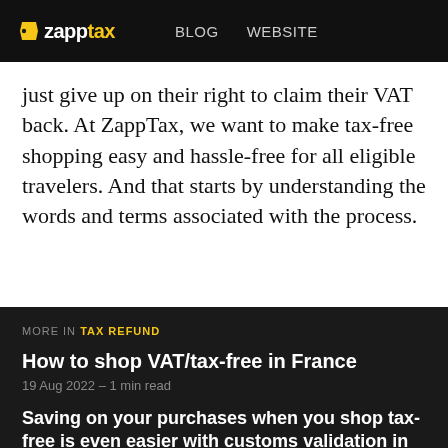zapptax | BLOG | WEBSITE
just give up on their right to claim their VAT back. At ZappTax, we want to make tax-free shopping easy and hassle-free for all eligible travelers. And that starts by understanding the words and terms associated with the process.
MORE IN TAX REFUND
How to shop VAT/tax-free in France
19 Aug 2022 – 1 min read
Saving on your purchases when you shop tax-free is even easier with customs validation in France using the PABLO terminals.